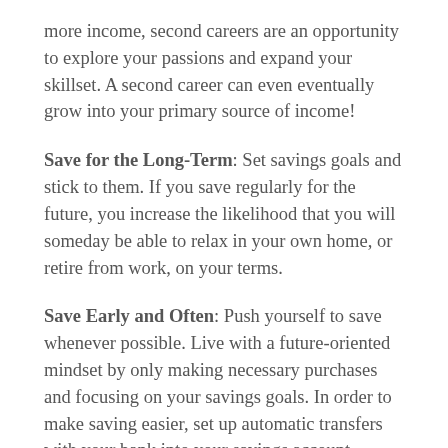more income, second careers are an opportunity to explore your passions and expand your skillset. A second career can even eventually grow into your primary source of income!
Save for the Long-Term: Set savings goals and stick to them. If you save regularly for the future, you increase the likelihood that you will someday be able to relax in your own home, or retire from work, on your terms.
Save Early and Often: Push yourself to save whenever possible. Live with a future-oriented mindset by only making necessary purchases and focusing on your savings goals. In order to make saving easier, set up automatic transfers with your bank into your savings account.